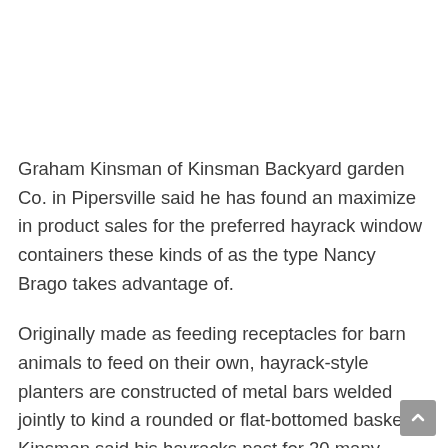Graham Kinsman of Kinsman Backyard garden Co. in Pipersville said he has found an maximize in product sales for the preferred hayrack window containers these kinds of as the type Nancy Brago takes advantage of.
Originally made as feeding receptacles for barn animals to feed on their own, hayrack-style planters are constructed of metal bars welded jointly to kind a rounded or flat-bottomed basket. Kinsman said his hayracks past for 20 many years or a lot more and occur in a huge array of lengths for any home windows or railing. The thick plastic coating more than th